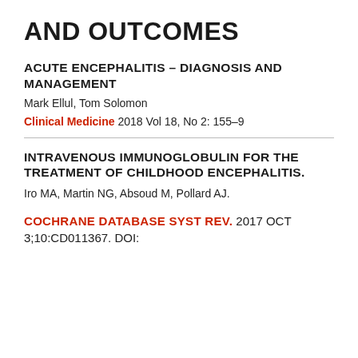AND OUTCOMES
ACUTE ENCEPHALITIS – DIAGNOSIS AND MANAGEMENT
Mark Ellul, Tom Solomon
Clinical Medicine 2018 Vol 18, No 2: 155–9
INTRAVENOUS IMMUNOGLOBULIN FOR THE TREATMENT OF CHILDHOOD ENCEPHALITIS.
Iro MA, Martin NG, Absoud M, Pollard AJ.
COCHRANE DATABASE SYST REV. 2017 OCT
3;10:CD011367. DOI: